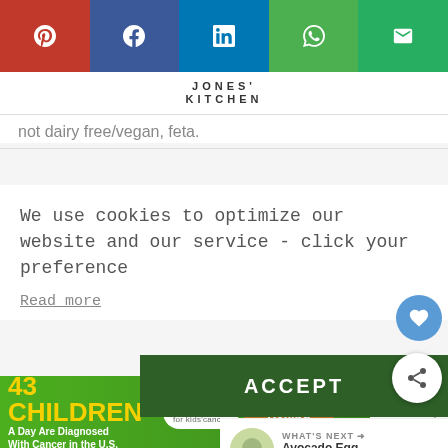[Figure (screenshot): Social share bar with Pinterest (red), Facebook (dark blue), LinkedIn (blue), WhatsApp (green), Email (green) buttons]
JONES' KITCHEN
not dairy free/vegan, feta.
We use cookies to optimize our website and our service - click your preference
Read more
[Figure (screenshot): Green ACCEPT button and share/heart circle buttons]
[Figure (screenshot): What's Next panel: Avocado Egg Sandwich thumbnail with label]
[Figure (screenshot): Advertisement banner: 43 CHILDREN A Day Are Diagnosed With Cancer in the U.S. - cookies for kids cancer - Let's Get Baking]